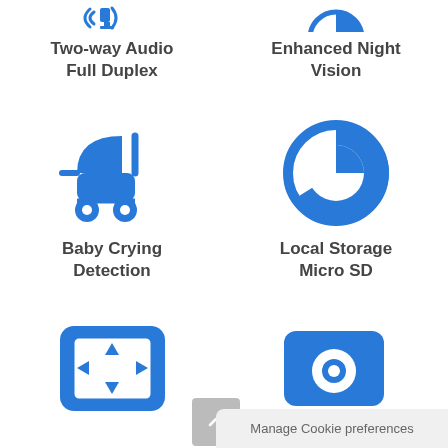[Figure (illustration): Blue audio/speaker icon (partially visible at top left)]
Two-way Audio Full Duplex
[Figure (illustration): Blue night vision icon (partially visible at top right)]
Enhanced Night Vision
[Figure (illustration): Blue baby stroller/pram icon]
Baby Crying Detection
[Figure (illustration): Blue clock/storage circle icon]
Local Storage Micro SD
[Figure (illustration): Blue pan/tilt directional arrows icon in rounded square]
[Figure (illustration): Blue camera icon (partially visible)]
Manage Cookie preferences